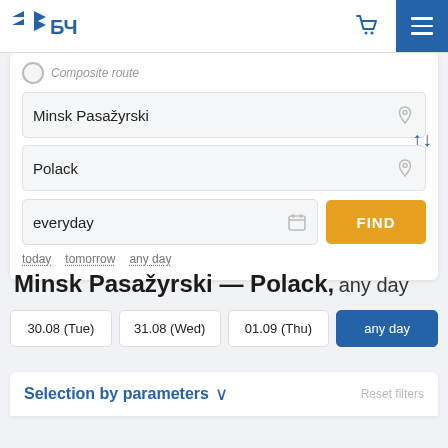[Figure (screenshot): Belarusian Railway (БЧ) website header with logo, cart icon, user icon, and hamburger menu button on blue background]
Composite route
Minsk Pasažyrski
Polack
everyday
FIND
today   tomorrow   any day
Minsk Pasažyrski — Polack,  any day
30.08 (Tue)    31.08 (Wed)    01.09 (Thu)    any day
Selection by parameters
Reset filters